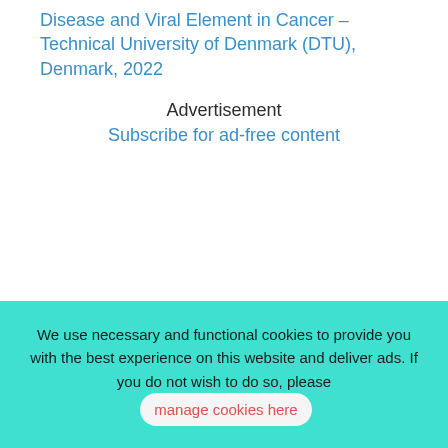Disease and Viral Element in Cancer – Technical University of Denmark (DTU), Denmark, 2022
Advertisement
Subscribe for ad-free content
We use necessary and functional cookies to provide you with the best experience on this website and deliver ads. If you do not wish to do so, please manage cookies here